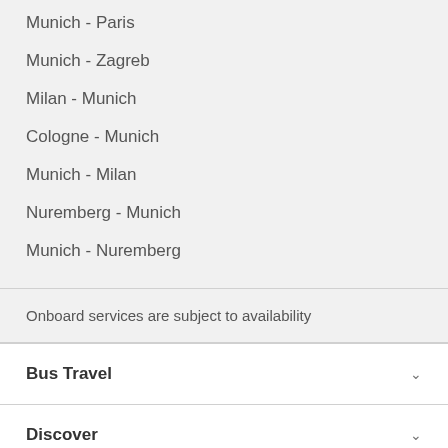Munich - Paris
Munich - Zagreb
Milan - Munich
Cologne - Munich
Munich - Milan
Nuremberg - Munich
Munich - Nuremberg
Onboard services are subject to availability
Bus Travel
Discover